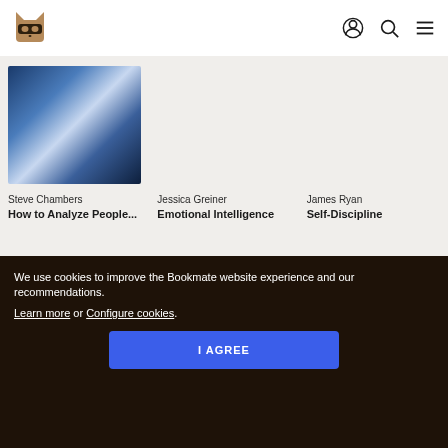[Figure (logo): Bookmate cat-with-mask logo in brown/tan color]
[Figure (photo): Blue gradient abstract book cover for 'How to Analyze People' by Steve Chambers]
Steve Chambers
How to Analyze People...
Jessica Greiner
Emotional Intelligence
James Ryan
Self-Discipline
We use cookies to improve the Bookmate website experience and our recommendations.
Learn more or Configure cookies.